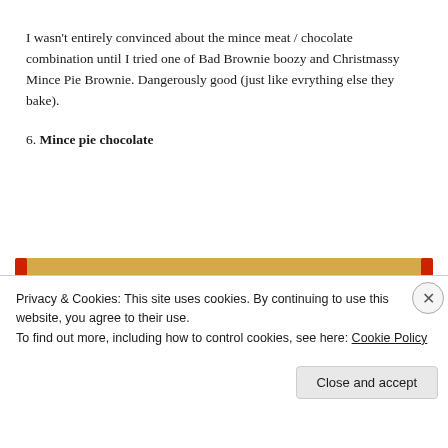I wasn't entirely convinced about the mince meat / chocolate combination until I tried one of Bad Brownie boozy and Christmassy Mince Pie Brownie. Dangerously good (just like evrything else they bake).
6. Mince pie chocolate
[Figure (photo): A wrapped chocolate bar with a tan/kraft paper wrapper featuring a red edge and a small sheep illustration]
Privacy & Cookies: This site uses cookies. By continuing to use this website, you agree to their use.
To find out more, including how to control cookies, see here: Cookie Policy
Close and accept